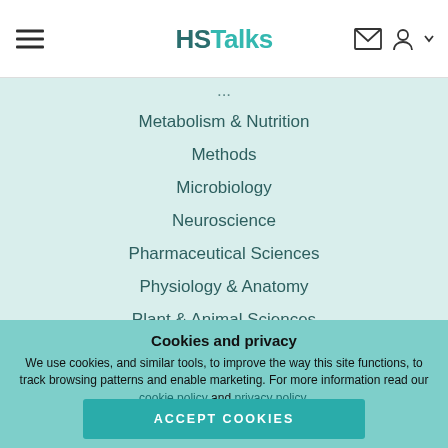HSTalks
Metabolism & Nutrition
Methods
Microbiology
Neuroscience
Pharmaceutical Sciences
Physiology & Anatomy
Plant & Animal Sciences
Reproduction & Development
Cookies and privacy
We use cookies, and similar tools, to improve the way this site functions, to track browsing patterns and enable marketing. For more information read our cookie policy and privacy policy.